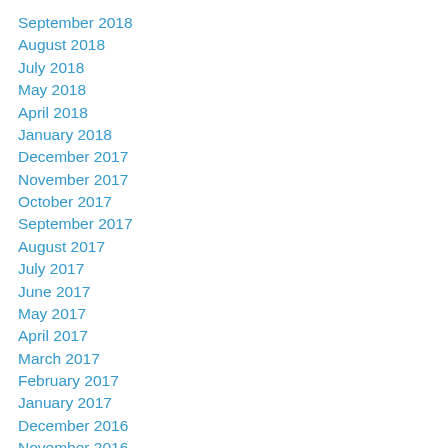September 2018
August 2018
July 2018
May 2018
April 2018
January 2018
December 2017
November 2017
October 2017
September 2017
August 2017
July 2017
June 2017
May 2017
April 2017
March 2017
February 2017
January 2017
December 2016
November 2016